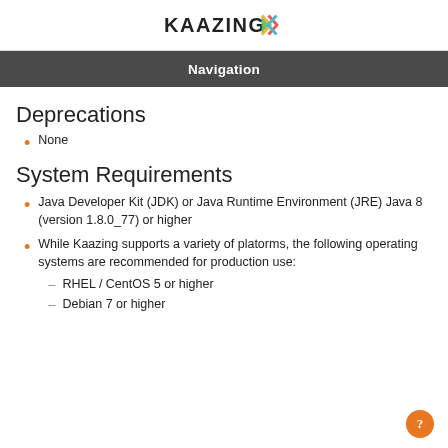[Figure (logo): Kaazing logo with stylized double arrow marks in multiple colors]
Navigation
Deprecations
None
System Requirements
Java Developer Kit (JDK) or Java Runtime Environment (JRE) Java 8 (version 1.8.0_77) or higher
While Kaazing supports a variety of platorms, the following operating systems are recommended for production use:
RHEL / CentOS 5 or higher
Debian 7 or higher